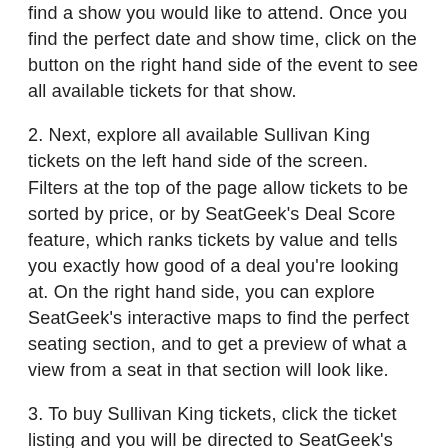1. Browse the above listings of Sullivan King tickets to find a show you would like to attend. Once you find the perfect date and show time, click on the button on the right hand side of the event to see all available tickets for that show.
2. Next, explore all available Sullivan King tickets on the left hand side of the screen. Filters at the top of the page allow tickets to be sorted by price, or by SeatGeek's Deal Score feature, which ranks tickets by value and tells you exactly how good of a deal you're looking at. On the right hand side, you can explore SeatGeek's interactive maps to find the perfect seating section, and to get a preview of what a view from a seat in that section will look like.
3. To buy Sullivan King tickets, click the ticket listing and you will be directed to SeatGeek's checkout process to complete the information fields.
4. SeatGeek will...